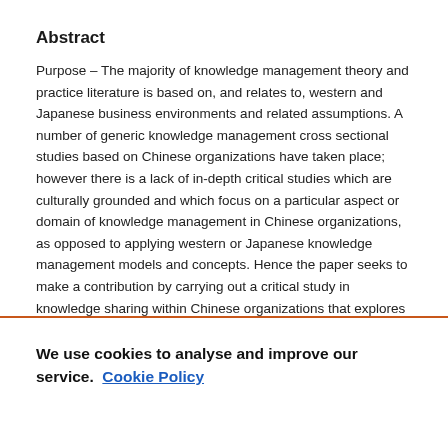Abstract
Purpose – The majority of knowledge management theory and practice literature is based on, and relates to, western and Japanese business environments and related assumptions. A number of generic knowledge management cross sectional studies based on Chinese organizations have taken place; however there is a lack of in-depth critical studies which are culturally grounded and which focus on a particular aspect or domain of knowledge management in Chinese organizations, as opposed to applying western or Japanese knowledge management models and concepts. Hence the paper seeks to make a contribution by carrying out a critical study in knowledge sharing within Chinese organizations that explores the role of culture in relation to the knowledge-sharing process, where the people-based aspects of knowledge sharing are likely to be
We use cookies to analyse and improve our service. Cookie Policy